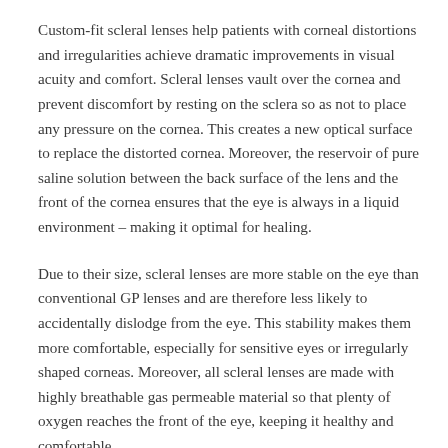Custom-fit scleral lenses help patients with corneal distortions and irregularities achieve dramatic improvements in visual acuity and comfort. Scleral lenses vault over the cornea and prevent discomfort by resting on the sclera so as not to place any pressure on the cornea. This creates a new optical surface to replace the distorted cornea. Moreover, the reservoir of pure saline solution between the back surface of the lens and the front of the cornea ensures that the eye is always in a liquid environment – making it optimal for healing.
Due to their size, scleral lenses are more stable on the eye than conventional GP lenses and are therefore less likely to accidentally dislodge from the eye. This stability makes them more comfortable, especially for sensitive eyes or irregularly shaped corneas. Moreover, all scleral lenses are made with highly breathable gas permeable material so that plenty of oxygen reaches the front of the eye, keeping it healthy and comfortable.